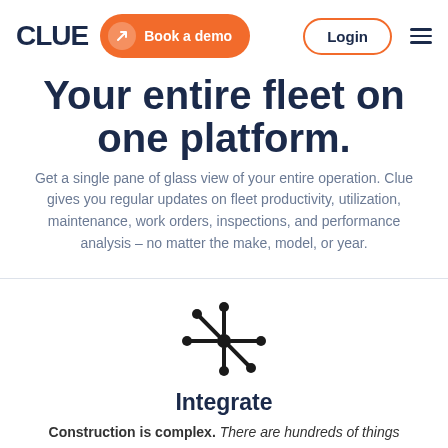CLUE — Book a demo | Login
Your entire fleet on one platform.
Get a single pane of glass view of your entire operation. Clue gives you regular updates on fleet productivity, utilization, maintenance, work orders, inspections, and performance analysis – no matter the make, model, or year.
[Figure (illustration): A snowflake/asterisk-like network icon with a central circle and six arms ending in circles, rendered in black.]
Integrate
Construction is complex. There are hundreds of things